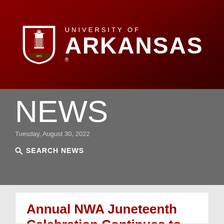[Figure (logo): University of Arkansas logo with shield crest and white text on dark red banner]
NEWS
Tuesday, August 30, 2022
🔍 SEARCH NEWS
Annual NWA Juneteenth Celebration Continues to Grow